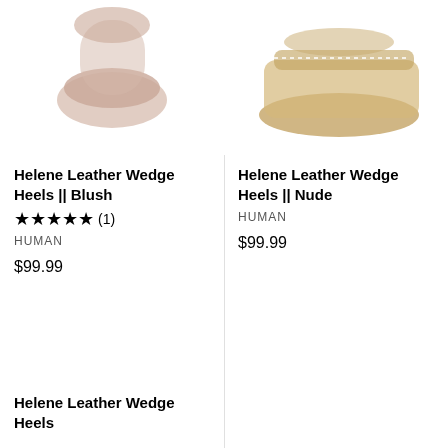[Figure (photo): Partial view of Helene Leather Wedge Heels in Blush color, shoe heel visible from above]
Helene Leather Wedge Heels || Blush
★★★★★ (1)
HUMAN
$99.99
[Figure (photo): Partial view of Helene Leather Wedge Heels in Nude color, espadrille wedge sole visible from above]
Helene Leather Wedge Heels || Nude
HUMAN
$99.99
Helene Leather Wedge Heels